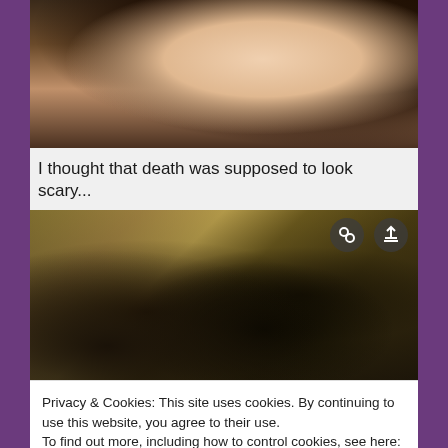[Figure (photo): Close-up photo of a cat (black and white) lying on its back, belly exposed, on a dark surface]
I thought that death was supposed to look scary...
[Figure (photo): Two characters from The Walking Dead (Rick and Daryl) crouching together holding weapons in a dark industrial setting. Two circular overlay icons visible in top right.]
Privacy & Cookies: This site uses cookies. By continuing to use this website, you agree to their use.
To find out more, including how to control cookies, see here:
Cookie Policy
[Figure (photo): Partial bottom strip of another photo showing multiple people]